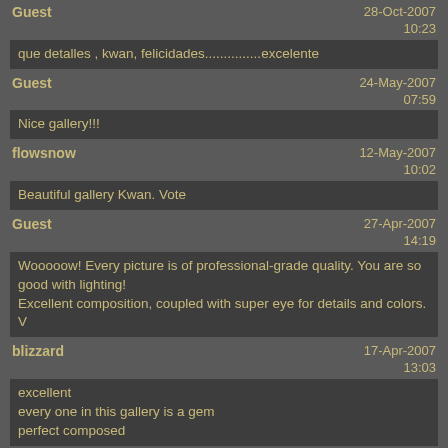Guest — 28-Oct-2007 10:23
que detalles , kwan, felicidades...............excelente
Guest — 24-May-2007 07:59
Nice gallery!!!
flowsnow — 12-May-2007 10:02
Beautiful gallery Kwan. Vote
Guest — 27-Apr-2007 14:19
Wooooow! Every picture is of professional-grade quality. You are so good with lighting!
Excellent composition, coupled with super eye for details and colors. V
blizzard — 17-Apr-2007 13:03
excellent
every one in this gallery is a gem
perfect composed
John W. MacDonald — 08-Feb-2007 16:39
great photos and I especially liked your descriptions. voted.
click on thumbnails for full image